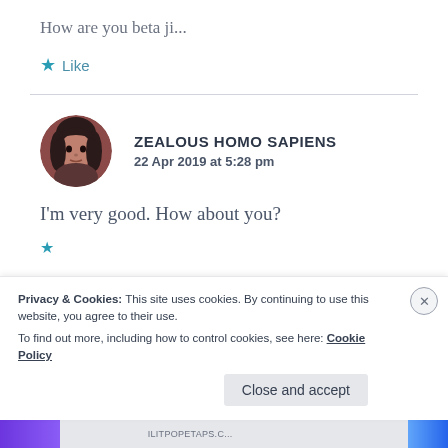How are you beta ji...
★ Like
[Figure (photo): Circular avatar photo of a person with dark hair, reddish-brown tones]
ZEALOUS HOMO SAPIENS
22 Apr 2019 at 5:28 pm
I'm very good. How about you?
Privacy & Cookies: This site uses cookies. By continuing to use this website, you agree to their use.
To find out more, including how to control cookies, see here: Cookie Policy
Close and accept